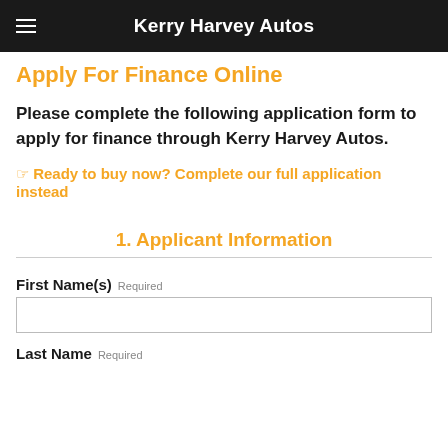Kerry Harvey Autos
Apply For Finance Online
Please complete the following application form to apply for finance through Kerry Harvey Autos.
☞ Ready to buy now? Complete our full application instead
1. Applicant Information
First Name(s) Required
Last Name Required